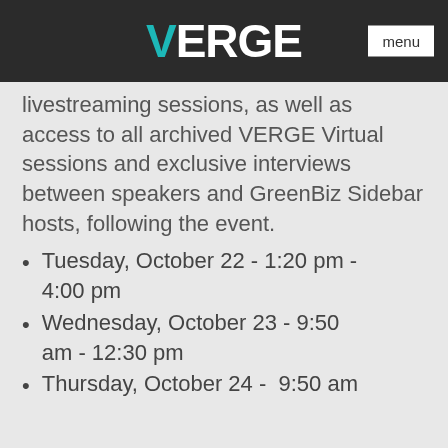VERGE  menu
livestreaming sessions, as well as access to all archived VERGE Virtual sessions and exclusive interviews between speakers and GreenBiz Sidebar hosts, following the event.
Tuesday, October 22 - 1:20 pm - 4:00 pm
Wednesday, October 23 - 9:50 am - 12:30 pm
Thursday, October 24 -  9:50 am